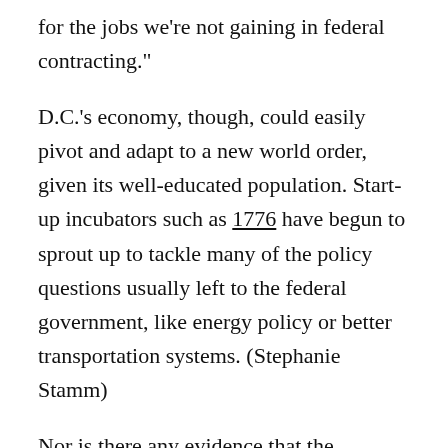for the jobs we're not gaining in federal contracting."
D.C.'s economy, though, could easily pivot and adapt to a new world order, given its well-educated population. Start-up incubators such as 1776 have begun to sprout up to tackle many of the policy questions usually left to the federal government, like energy policy or better transportation systems. (Stephanie Stamm)
Nor is there any evidence that the reduction in federal jobs is discouraging smart, young people from flocking here. New census data shows that millennials relocated to D.C. more than any other major city following the recession. "D.C. at this